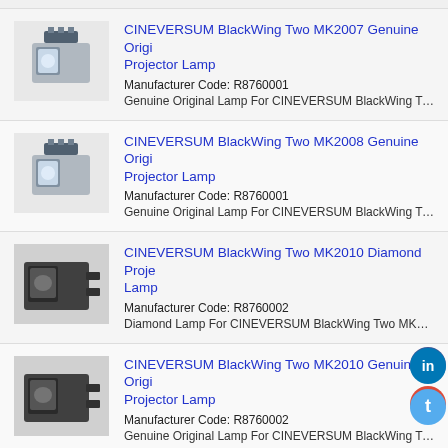CINEVERSUM BlackWing Two MK2007 Genuine Original Projector Lamp
Manufacturer Code: R8760001
Genuine Original Lamp For CINEVERSUM BlackWing Two MK2007 P
CINEVERSUM BlackWing Two MK2008 Genuine Original Projector Lamp
Manufacturer Code: R8760001
Genuine Original Lamp For CINEVERSUM BlackWing Two MK2008 P
CINEVERSUM BlackWing Two MK2010 Diamond Projector Lamp
Manufacturer Code: R8760002
Diamond Lamp For CINEVERSUM BlackWing Two MK2010 Projector
CINEVERSUM BlackWing Two MK2010 Genuine Original Projector Lamp
Manufacturer Code: R8760002
Genuine Original Lamp For CINEVERSUM BlackWing Two MK2010 P
CINEVERSUM BlackWing Two MK2011 Genuine Original Projector Lamp